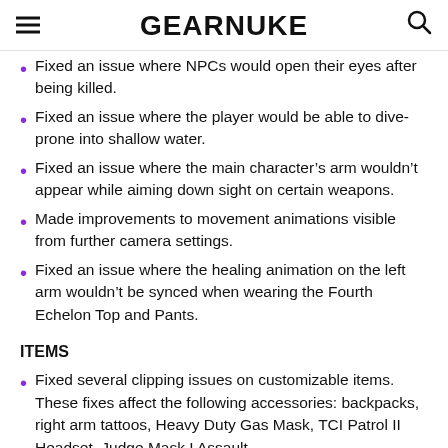GEARNUKE
Fixed an issue where NPCs would open their eyes after being killed.
Fixed an issue where the player would be able to dive-prone into shallow water.
Fixed an issue where the main character’s arm wouldn’t appear while aiming down sight on certain weapons.
Made improvements to movement animations visible from further camera settings.
Fixed an issue where the healing animation on the left arm wouldn’t be synced when wearing the Fourth Echelon Top and Pants.
ITEMS
Fixed several clipping issues on customizable items. These fixes affect the following accessories: backpacks, right arm tattoos, Heavy Duty Gas Mask, TCI Patrol II Headset, Judge Mask I Assault